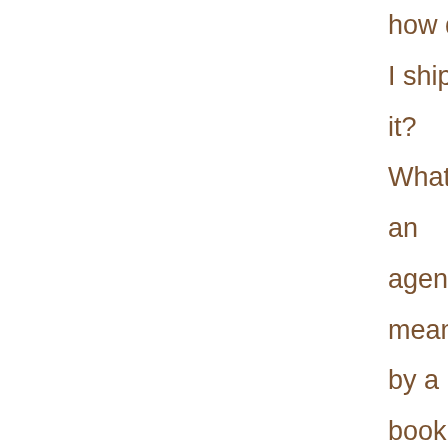how do I ship it? What an agent means by a book proposal What an agent will expect a new client to know